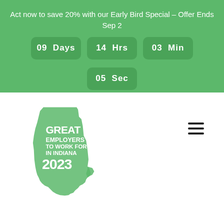Act now to save 20% with our Early Bird Special – Offer Ends Sep 2
[Figure (infographic): Countdown timer showing 09 Days, 14 Hrs, 03 Min, 05 Sec on green rounded rectangle boxes]
[Figure (logo): Great Employers to Work For in Indiana 2023 logo — green Indiana state shape with white text overlay]
[Figure (other): Hamburger menu icon (three horizontal lines)]